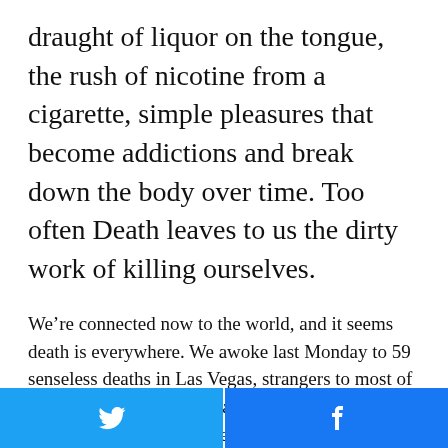draught of liquor on the tongue, the rush of nicotine from a cigarette, simple pleasures that become addictions and break down the body over time. Too often Death leaves to us the dirty work of killing ourselves.
We’re connected now to the world, and it seems death is everywhere. We awoke last Monday to 59 senseless deaths in Las Vegas, strangers to most of us but we saw in those deaths our own. The sadness was real for we’re an empathetic people, to a point at least. But with those